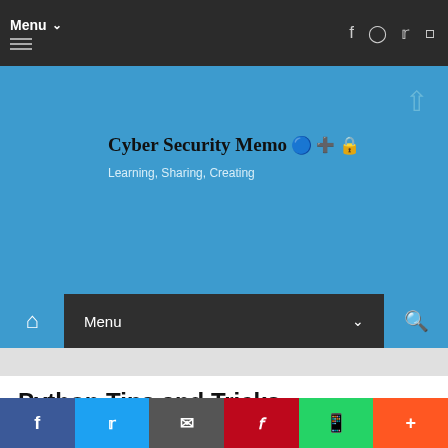Menu
Cyber Security Memo 🔵➕🔒 Learning, Sharing, Creating
Menu
Python Tips and Tricks
Friday, August 24, 2018   Python
f  Twitter  Email  Pinterest  WhatsApp  More